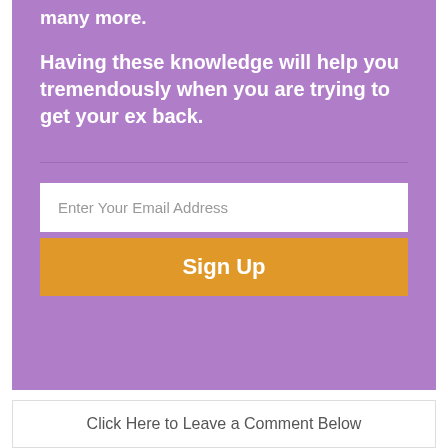many more.
Having these knowledge will help you tremendously when you are trying to get your ex back.
Enter Your Email Address
Sign Up
Click Here to Leave a Comment Below